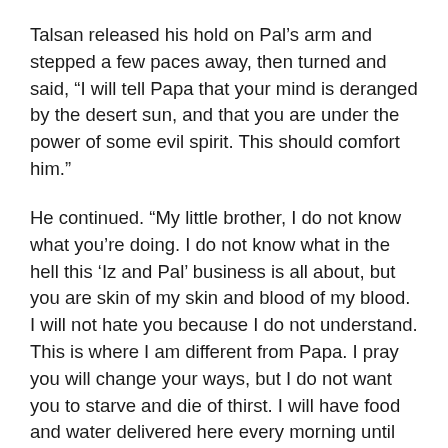Talsan released his hold on Pal's arm and stepped a few paces away, then turned and said, “I will tell Papa that your mind is deranged by the desert sun, and that you are under the power of some evil spirit. This should comfort him.”
He continued. “My little brother, I do not know what you’re doing. I do not know what in the hell this ‘Iz and Pal’ business is all about, but you are skin of my skin and blood of my blood. I will not hate you because I do not understand. This is where I am different from Papa. I pray you will change your ways, but I do not want you to starve and die of thirst. I will have food and water delivered here every morning until you decide to come to your senses. You are a childish idiot—but that should not be a death sentence.”